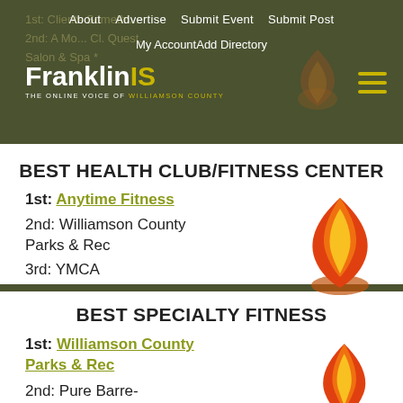FranklinIS - THE ONLINE VOICE OF WILLIAMSON COUNTY | About | Advertise | Submit Event | Submit Post | My Account | Add Directory
BEST HEALTH CLUB/FITNESS CENTER
1st: Anytime Fitness
2nd: Williamson County Parks & Rec
3rd: YMCA
BEST SPECIALTY FITNESS
1st: Williamson County Parks & Rec
2nd: Pure Barre-Brentwood